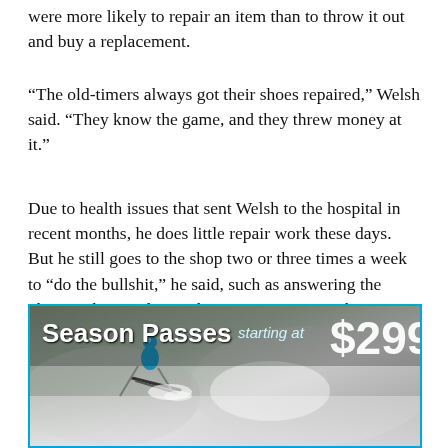were more likely to repair an item than to throw it out and buy a replacement.
“The old-timers always got their shoes repaired,” Welsh said. “They know the game, and they threw money at it.”
Due to health issues that sent Welsh to the hospital in recent months, he does little repair work these days. But he still goes to the shop two or three times a week to “do the bullshit,” he said, such as answering the phone, taking orders and managing paperwork.
“The old-timers always got
[Figure (photo): Advertisement banner for Season Passes starting at $299, featuring a skier on a snowy slope. Text: Season Passes starting at $299]